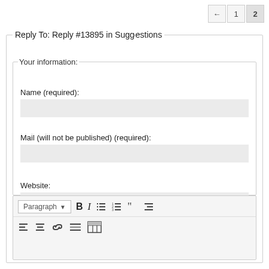← 1 2
Reply To: Reply #13895 in Suggestions
Your information:
Name (required):
Mail (will not be published) (required):
Website:
[Figure (screenshot): Text editor toolbar with Paragraph dropdown, Bold, Italic, unordered list, ordered list, blockquote, align-right, align-left, align-center, link, horizontal rule, and table buttons]